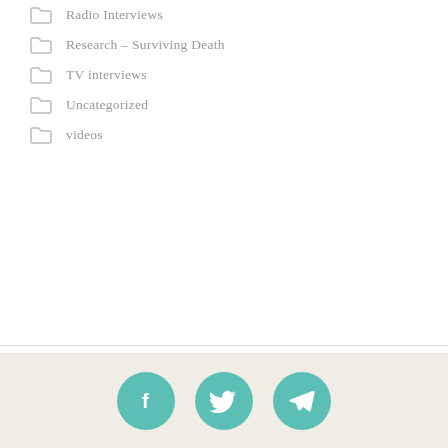Radio Interviews
Research – Surviving Death
TV interviews
Uncategorized
videos
META
Log in
Entries feed
Comments feed
WordPress.org
[Figure (infographic): Three teal circular social media icons: Facebook (f), Twitter (bird), and Telegram (paper plane)]